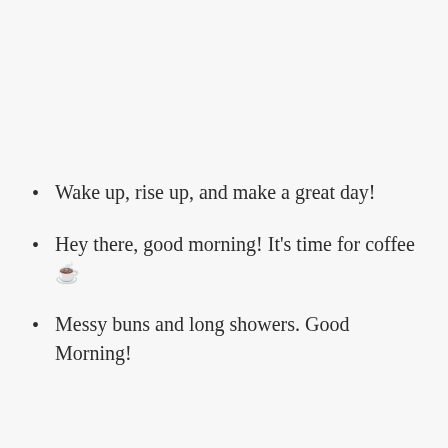Wake up, rise up, and make a great day!
Hey there, good morning! It's time for coffee ☕
Messy buns and long showers. Good Morning!